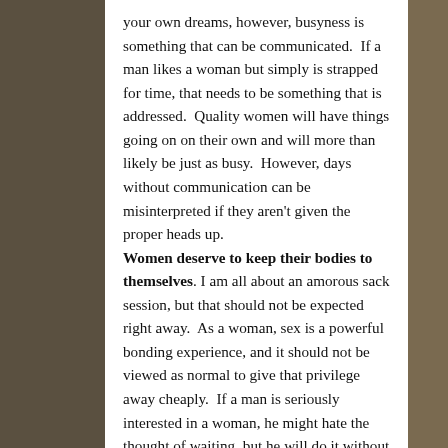your own dreams, however, busyness is something that can be communicated.  If a man likes a woman but simply is strapped for time, that needs to be something that is addressed.  Quality women will have things going on on their own and will more than likely be just as busy.  However, days without communication can be misinterpreted if they aren't given the proper heads up.
Women deserve to keep their bodies to themselves. I am all about an amorous sack session, but that should not be expected right away.  As a woman, sex is a powerful bonding experience, and it should not be viewed as normal to give that privilege away cheaply.  If a man is seriously interested in a woman, he might hate the thought of waiting, but he will do it without making her feel pressured because he respects her and wants more than just the cookie.